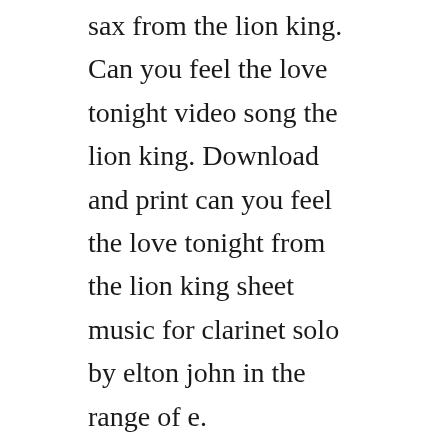sax from the lion king. Can you feel the love tonight video song the lion king. Download and print can you feel the love tonight from the lion king sheet music for clarinet solo by elton john in the range of e.
In his fourdecade career, john has been one of the dominant forces in rock and popular music, especially during the 1970s. Jazz ensemble sheet music book by elton john and tim rice. Sheet music for alto saxophone can you feel the love tonight. Digital sheet music for can you feel the love tonight by, elton